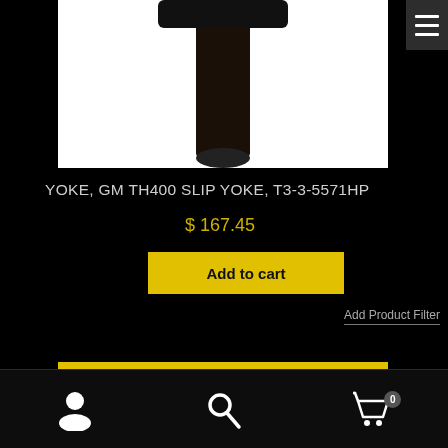[Figure (photo): Product photo of a black GM TH400 slip yoke component against a white background]
YOKE, GM TH400 SLIP YOKE, T3-3-5571HP
$ 167.45
Add to cart
Add Product Filter
[Figure (other): Yellow horizontal bar, partial view of a tab or navigation element]
User icon | Search icon | Cart icon with badge 0